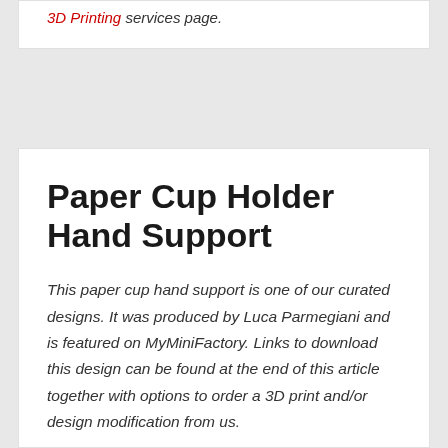3D Printing services page.
Paper Cup Holder Hand Support
This paper cup hand support is one of our curated designs. It was produced by Luca Parmegiani and is featured on MyMiniFactory. Links to download this design can be found at the end of this article together with options to order a 3D print and/or design modification from us.